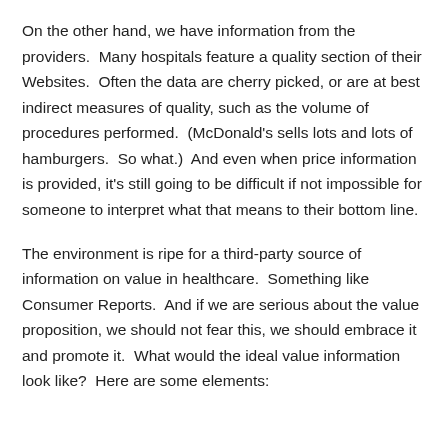On the other hand, we have information from the providers.  Many hospitals feature a quality section of their Websites.  Often the data are cherry picked, or are at best indirect measures of quality, such as the volume of procedures performed.  (McDonald's sells lots and lots of hamburgers.  So what.)  And even when price information is provided, it's still going to be difficult if not impossible for someone to interpret what that means to their bottom line.
The environment is ripe for a third-party source of information on value in healthcare.  Something like Consumer Reports.  And if we are serious about the value proposition, we should not fear this, we should embrace it and promote it.  What would the ideal value information look like?  Here are some elements: